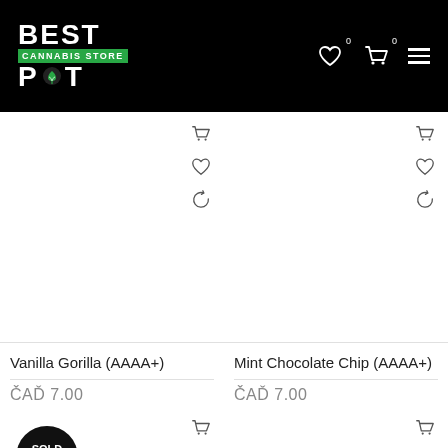[Figure (logo): Best Pot Cannabis Store logo: white text on black background with green stripe]
Vanilla Gorilla (AAAA+)
CAD 7.00
Mint Chocolate Chip (AAAA+)
CAD 7.00
SOLD OUT